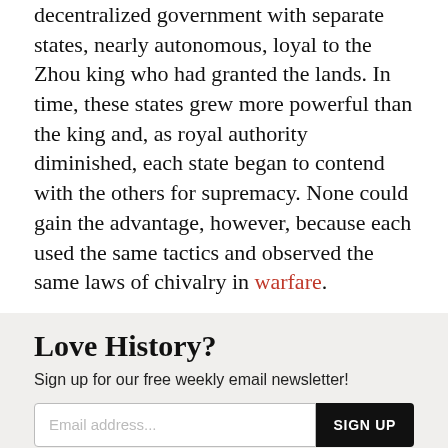decentralized government with separate states, nearly autonomous, loyal to the Zhou king who had granted the lands. In time, these states grew more powerful than the king and, as royal authority diminished, each state began to contend with the others for supremacy. None could gain the advantage, however, because each used the same tactics and observed the same laws of chivalry in warfare.
Love History?
Sign up for our free weekly email newsletter!
[Figure (other): Email newsletter sign-up form with input field and SIGN UP button]
[Figure (other): Partially visible figure box with title beginning 'The Warring States of Chi...']